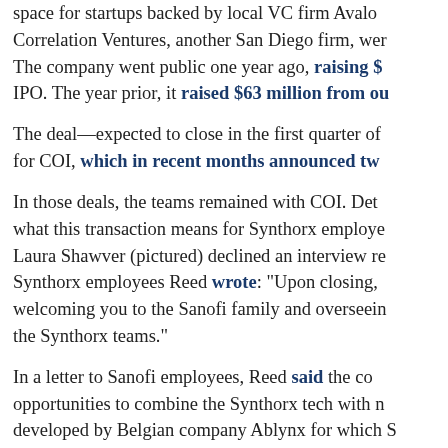space for startups backed by local VC firm Avalon Correlation Ventures, another San Diego firm, were The company went public one year ago, raising $ IPO. The year prior, it raised $63 million from ou
The deal—expected to close in the first quarter of for COI, which in recent months announced tw
In those deals, the teams remained with COI. Deta what this transaction means for Synthorx employe Laura Shawver (pictured) declined an interview re Synthorx employees Reed wrote: "Upon closing, welcoming you to the Sanofi family and overseein the Synthorx teams."
In a letter to Sanofi employees, Reed said the con opportunities to combine the Synthorx tech with na developed by Belgian company Ablynx for which S ($4.3 billion) last year, in addition to other immu